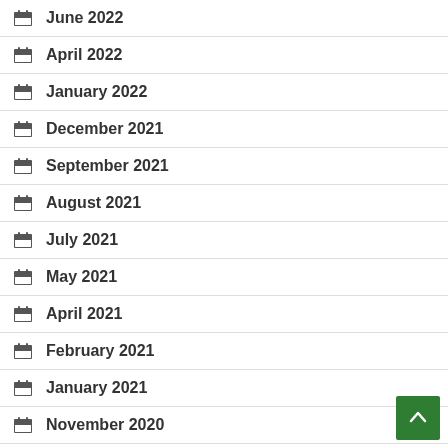June 2022
April 2022
January 2022
December 2021
September 2021
August 2021
July 2021
May 2021
April 2021
February 2021
January 2021
November 2020
September 2020